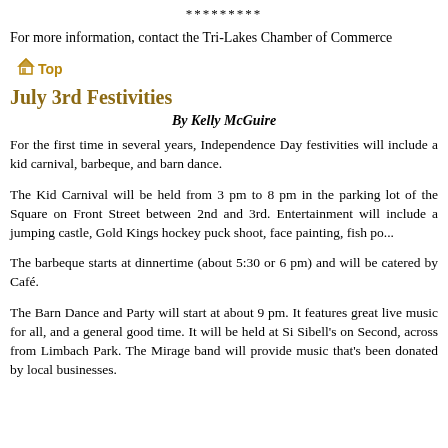*********
For more information, contact the Tri-Lakes Chamber of Commerce
[Figure (logo): Home icon with 'Top' text in gold/orange color]
July 3rd Festivities
By Kelly McGuire
For the first time in several years, Independence Day festivities will include a kid carnival, barbeque, and barn dance.
The Kid Carnival will be held from 3 pm to 8 pm in the parking lot of the Square on Front Street between 2nd and 3rd. Entertainment will include a jumping castle, Gold Kings hockey puck shoot, face painting, fish po...
The barbeque starts at dinnertime (about 5:30 or 6 pm) and will be catered by Café.
The Barn Dance and Party will start at about 9 pm. It features great live music for all, and a general good time. It will be held at Si Sibell's on Second, across from Limbach Park. The Mirage band will provide music that's been donated by local businesses.